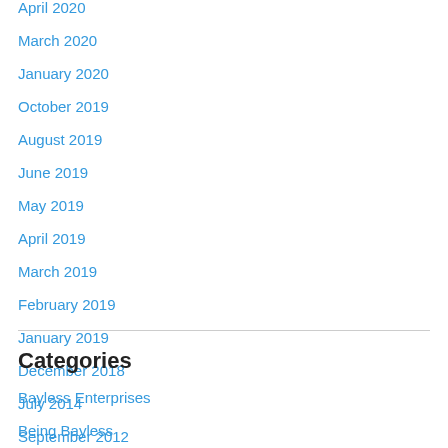April 2020
March 2020
January 2020
October 2019
August 2019
June 2019
May 2019
April 2019
March 2019
February 2019
January 2019
December 2018
July 2014
September 2012
Categories
Bayless Enterprises
Being Bayless